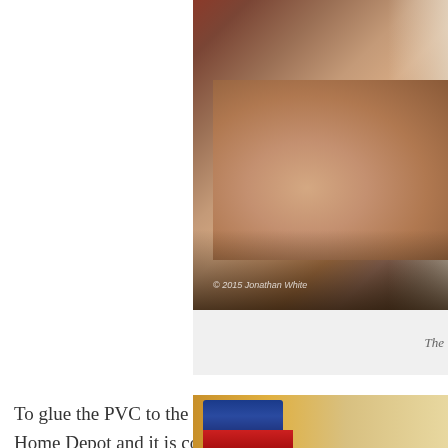[Figure (photo): Close-up photo of a hand holding or pressing a white PVC or trim piece against a surface. Dark background with warm tones. Copyright watermark reads '© 2015 Jonathan White'.]
The
To glue the PVC to the wood, I used PL375 Home Depot and it is considerably cheaper
[Figure (photo): Partial view of what appears to be a tube of construction adhesive or glue (blue and red packaging) on a yellow/tan background.]